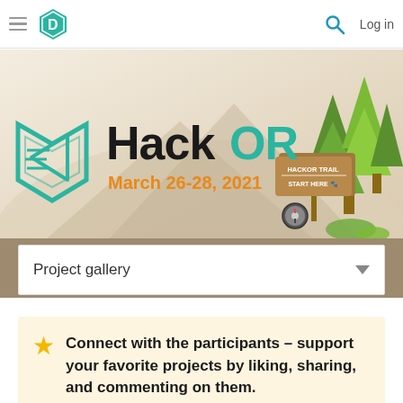D | Log in
[Figure (illustration): HackOR hackathon banner with teal hexagon logo, pine trees, trail sign reading HACKOR TRAIL START HERE, compass, and outdoor camping illustration on a beige/tan background]
HackOR March 26-28, 2021
Project gallery
Connect with the participants – support your favorite projects by liking, sharing, and commenting on them.